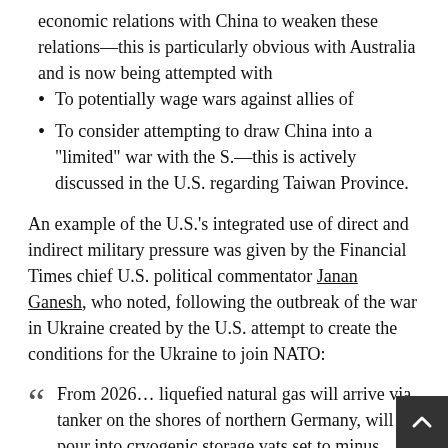economic relations with China to weaken these relations—this is particularly obvious with Australia and is now being attempted with
To potentially wage wars against allies of
To consider attempting to draw China into a "limited" war with the S.—this is actively discussed in the U.S. regarding Taiwan Province.
An example of the U.S.'s integrated use of direct and indirect military pressure was given by the Financial Times chief U.S. political commentator Janan Ganesh, who noted, following the outbreak of the war in Ukraine created by the U.S. attempt to create the conditions for the Ukraine to join NATO:
From 2026… liquefied natural gas will arrive via tanker on the shores of northern Germany, will pour into cryogenic storage vats set to minus 160C, and then "re-gasify" before coursing through the